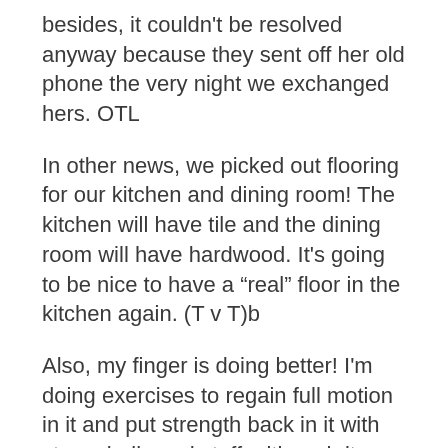besides, it couldn't be resolved anyway because they sent off her old phone the very night we exchanged hers. OTL
In other news, we picked out flooring for our kitchen and dining room! The kitchen will have tile and the dining room will have hardwood. It's going to be nice to have a “real” floor in the kitchen again. (T v T)b
Also, my finger is doing better! I'm doing exercises to regain full motion in it and put strength back in it with stress balls and stuff, although it seems pretty strong to me. ^^; The swelling is going down, too. I've been drawing a whole lot and I'm actually using that finger to type again, which is a nice surprise.